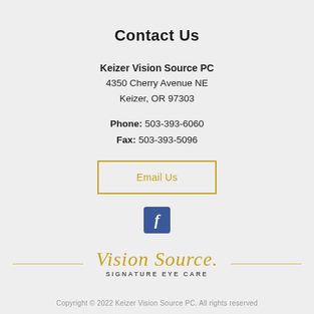Contact Us
Keizer Vision Source PC
4350 Cherry Avenue NE
Keizer, OR 97303
Phone: 503-393-6060
Fax: 503-393-5096
Email Us
[Figure (logo): Facebook logo icon — blue square with white letter f]
[Figure (logo): Vision Source Signature Eye Care logo with script text and horizontal gold rules]
Copyright © 2022 Keizer Vision Source PC. All rights reserved